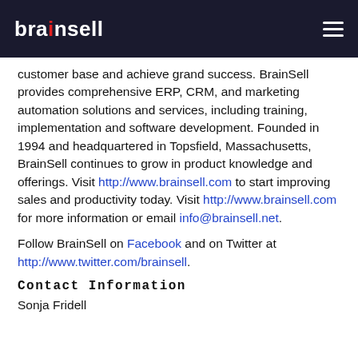brainsell
customer base and achieve grand success. BrainSell provides comprehensive ERP, CRM, and marketing automation solutions and services, including training, implementation and software development. Founded in 1994 and headquartered in Topsfield, Massachusetts, BrainSell continues to grow in product knowledge and offerings. Visit http://www.brainsell.com to start improving sales and productivity today. Visit http://www.brainsell.com for more information or email info@brainsell.net.
Follow BrainSell on Facebook and on Twitter at http://www.twitter.com/brainsell.
Contact Information
Sonja Fridell